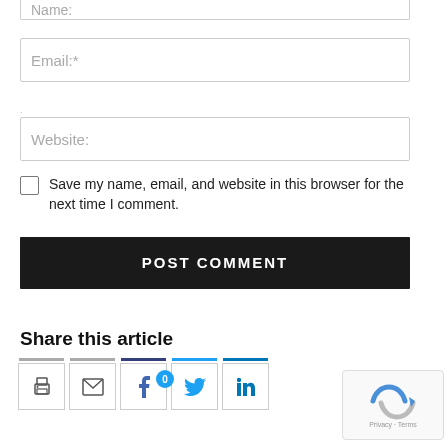Name:
Email:*
Website:
Save my name, email, and website in this browser for the next time I comment.
POST COMMENT
Share this article
[Figure (infographic): Social share icons: print, email, Facebook (with 0 count badge), Twitter, LinkedIn; reCAPTCHA widget in bottom right]